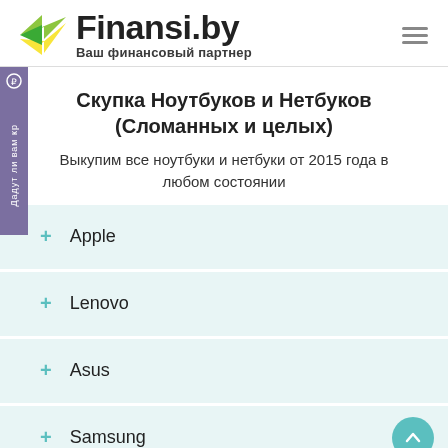Finansi.by — Ваш финансовый партнер
Скупка Ноутбуков и Нетбуков (Сломанных и целых)
Выкупим все ноутбуки и нетбуки от 2015 года в любом состоянии
Apple
Lenovo
Asus
Samsung
Acer